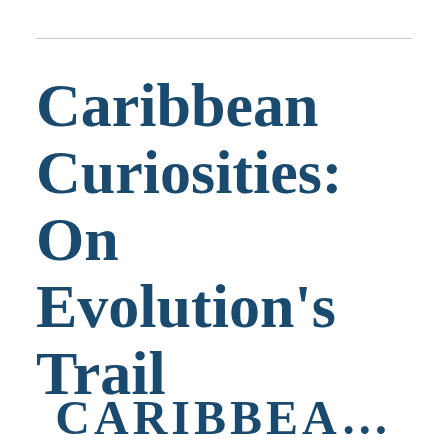Caribbean Curiosities: On Evolution's Trail
CARIBBEA...